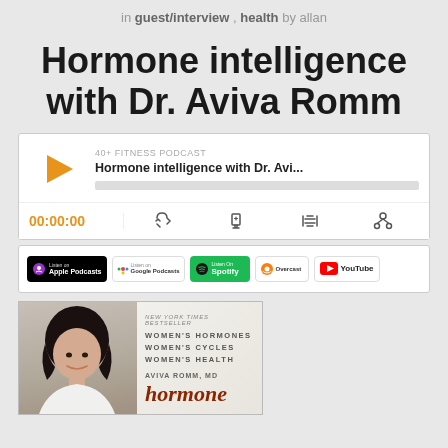in guest/interview , health by allan
Hormone intelligence with Dr. Aviva Romm
[Figure (screenshot): Podcast player widget showing '40+ FITNESS PODCAST' with title 'Hormone intelligence with Dr. Avi...' and play button, time 00:00:00, and control icons]
[Figure (screenshot): Podcast listening platform badges: Apple Podcasts, Google Podcasts, Spotify, Overcast, YouTube]
[Figure (photo): Book cover for 'Hormone Intelligence' by Aviva Romm MD, New York Times Bestseller, showing a woman's face on the left and book title text on the right]